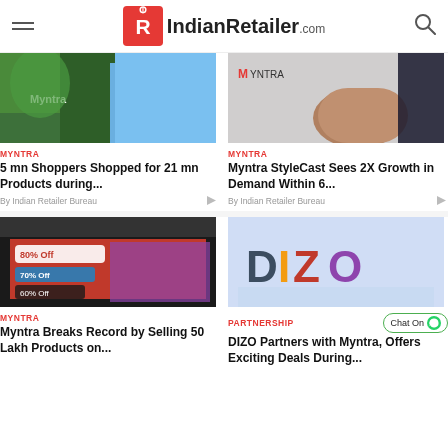IndianRetailer.com
[Figure (photo): Myntra building exterior with green plant wall]
MYNTRA
5 mn Shoppers Shopped for 21 mn Products during...
By Indian Retailer Bureau
[Figure (photo): Myntra office interior with reception desk and logo on wall]
MYNTRA
Myntra StyleCast Sees 2X Growth in Demand Within 6...
By Indian Retailer Bureau
[Figure (photo): Myntra website screenshot showing sale banners 80% off, 70% off, 60% off]
MYNTRA
Myntra Breaks Record by Selling 50 Lakh Products on...
[Figure (photo): DIZO brand logo colorful illustration]
PARTNERSHIP
DIZO Partners with Myntra, Offers Exciting Deals During...